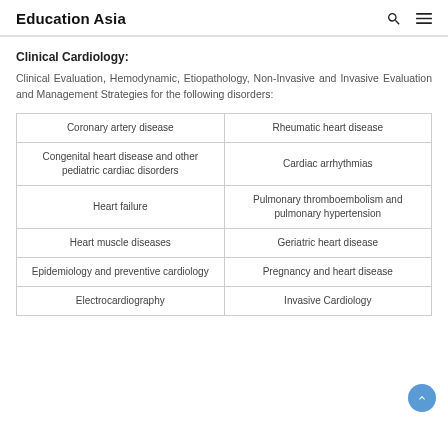Education Asia
Clinical Cardiology:
Clinical Evaluation, Hemodynamic, Etiopathology, Non-Invasive and Invasive Evaluation and Management Strategies for the following disorders:
| Coronary artery disease | Rheumatic heart disease |
| Congenital heart disease and other pediatric cardiac disorders | Cardiac arrhythmias |
| Heart failure | Pulmonary thromboembolism and pulmonary hypertension |
| Heart muscle diseases | Geriatric heart disease |
| Epidemiology and preventive cardiology | Pregnancy and heart disease |
| Electrocardiography | Invasive Cardiology |